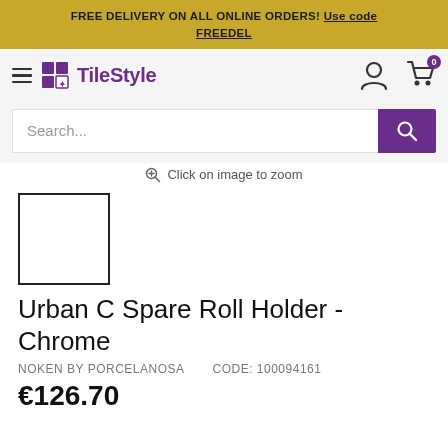FREE DELIVERY ON ALL ONLINE ORDERS! Use code FREEDEL
[Figure (logo): TileStyle logo with purple grid icon and purple bold text]
Click on image to zoom
[Figure (photo): Product thumbnail image placeholder (white box with black border)]
Urban C Spare Roll Holder - Chrome
NOKEN BY PORCELANOSA    Code: 100094161
€126.70